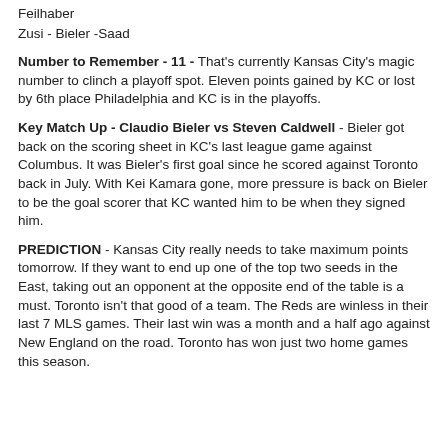Feilhaber
Zusi - Bieler -Saad
Number to Remember - 11 - That's currently Kansas City's magic number to clinch a playoff spot. Eleven points gained by KC or lost by 6th place Philadelphia and KC is in the playoffs.
Key Match Up - Claudio Bieler vs Steven Caldwell - Bieler got back on the scoring sheet in KC's last league game against Columbus. It was Bieler's first goal since he scored against Toronto back in July. With Kei Kamara gone, more pressure is back on Bieler to be the goal scorer that KC wanted him to be when they signed him.
PREDICTION - Kansas City really needs to take maximum points tomorrow. If they want to end up one of the top two seeds in the East, taking out an opponent at the opposite end of the table is a must. Toronto isn't that good of a team. The Reds are winless in their last 7 MLS games. Their last win was a month and a half ago against New England on the road. Toronto has won just two home games this season.